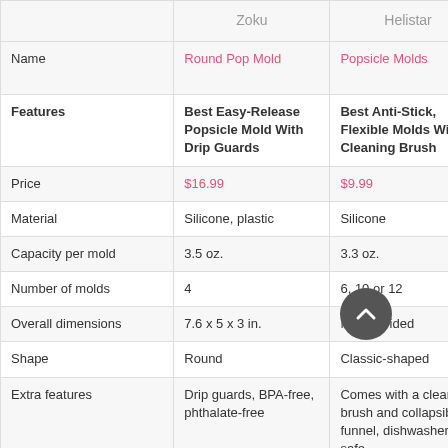|  | Zoku | Helistar |  |
| --- | --- | --- | --- |
| Name | Round Pop Mold | Popsicle Molds | Collapsible Molds |
| Features | Best Easy-Release Popsicle Mold With Drip Guards | Best Anti-Stick, Flexible Molds With Cleaning Brush | Best Ice Cream... |
| Price | $16.99 | $9.99 | $16.9... |
| Material | Silicone, plastic | Silicone | Silico... |
| Capacity per mold | 3.5 oz. | 3.3 oz. | 3.2 oz... |
| Number of molds | 4 | 6, 10 or 12 | 6 |
| Overall dimensions | 7.6 x 5 x 3 in. | Not provided | 7 x 6... |
| Shape | Round | Classic-shaped | Class... |
| Extra features | Drip guards, BPA-free, phthalate-free | Comes with a cleaning brush and collapsible funnel, dishwasher-safe | Dishw... collap... |
| Link | View Amazon | View Amazon | V... |